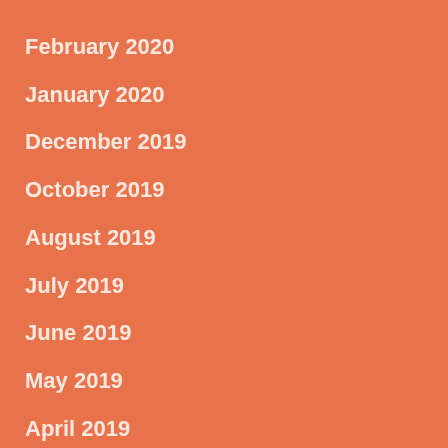February 2020
January 2020
December 2019
October 2019
August 2019
July 2019
June 2019
May 2019
April 2019